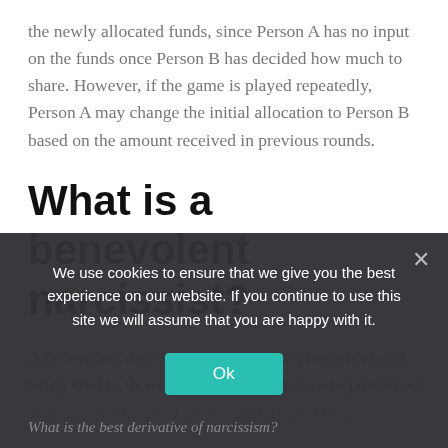the newly allocated funds, since Person A has no input on the funds once Person B has decided how much to share. However, if the game is played repeatedly, Person A may change the initial allocation to Person B based on the amount received in previous rounds.
What is a benevolent narcissist?
A benevolent narcissist knows that helping others and being kind to them is an effective way to win praise and attention, as they will also be admiring to their...
We use cookies to ensure that we give you the best experience on our website. If you continue to use this site we will assume that you are happy with it.
Ok
What is the best derivative of narcissism?